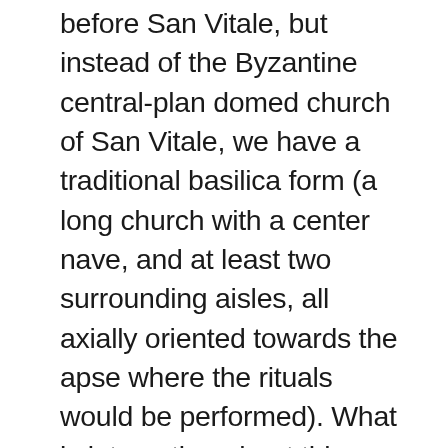before San Vitale, but instead of the Byzantine central-plan domed church of San Vitale, we have a traditional basilica form (a long church with a center nave, and at least two surrounding aisles, all axially oriented towards the apse where the rituals would be performed). What is interesting about this church is that it was built under Ostrogothic rule as a Palace church for the emperor Theodoric. The Ostrogoths were Christians, but believed in a “heretical” form of Christianity called Arianism (long story short – questions the divinity of Christ and the notion of the Holy Trinity). When Ostrogothic rule ended, the church was not destroyed and we have noticeable examples where the mosaic program of the church was altered to reflect both the change in the political situation AND